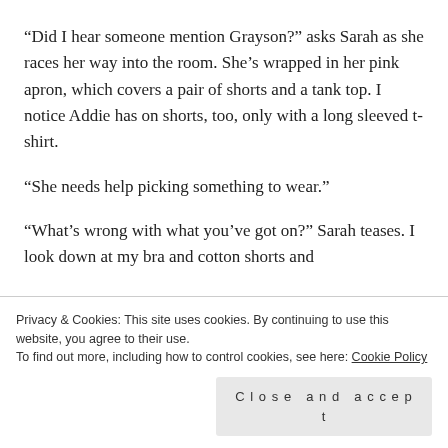“Did I hear someone mention Grayson?” asks Sarah as she races her way into the room. She’s wrapped in her pink apron, which covers a pair of shorts and a tank top. I notice Addie has on shorts, too, only with a long sleeved t-shirt.
“She needs help picking something to wear.”
“What’s wrong with what you’ve got on?” Sarah teases. I look down at my bra and cotton shorts and
folding my arms across my chest.
Privacy & Cookies: This site uses cookies. By continuing to use this website, you agree to their use.
To find out more, including how to control cookies, see here: Cookie Policy